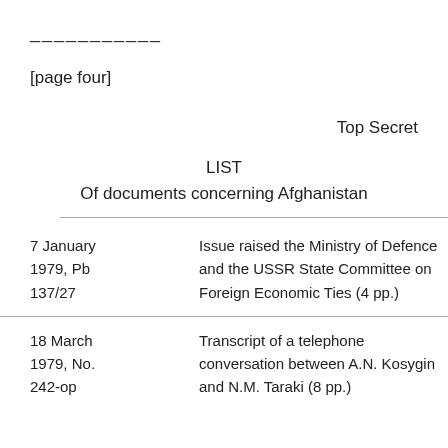___________
[page four]
Top Secret
LIST
Of documents concerning Afghanistan
| Date | Description |
| --- | --- |
| 7 January 1979, Pb 137/27 | Issue raised the Ministry of Defence and the USSR State Committee on Foreign Economic Ties (4 pp.) |
| 18 March 1979, No. 242-op | Transcript of a telephone conversation between A.N. Kosygin and N.M. Taraki (8 pp.) |